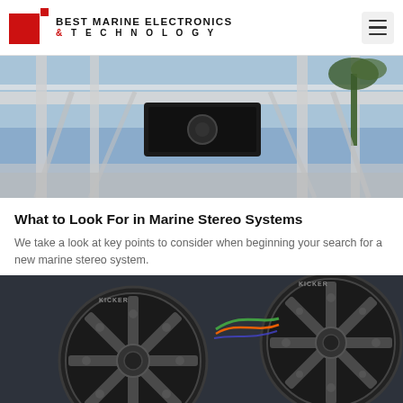BEST MARINE ELECTRONICS & TECHNOLOGY
[Figure (photo): Boat with T-top, electronics console visible from below against a blue sky with palm trees]
What to Look For in Marine Stereo Systems
We take a look at key points to consider when beginning your search for a new marine stereo system.
May 20, 2022
[Figure (photo): Close-up of two dark marine speakers (Kicker brand) showing the spoke grille pattern, installed on a boat surface]